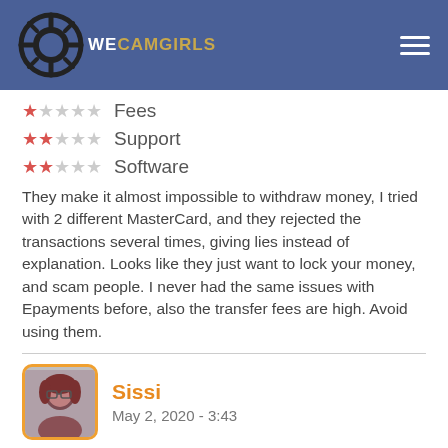[Figure (logo): WeCamGirls logo with circular camera shutter icon and text WECAMGIRLS in white and gold on blue header background]
★☆☆☆☆ Fees
★★☆☆☆ Support
★★☆☆☆ Software
They make it almost impossible to withdraw money, I tried with 2 different MasterCard, and they rejected the transactions several times, giving lies instead of explanation. Looks like they just want to lock your money, and scam people. I never had the same issues with Epayments before, also the transfer fees are high. Avoid using them.
[Figure (photo): Profile photo of user Sissi with orange border]
Sissi
May 2, 2020 - 3:43
I am beginning of partial text...